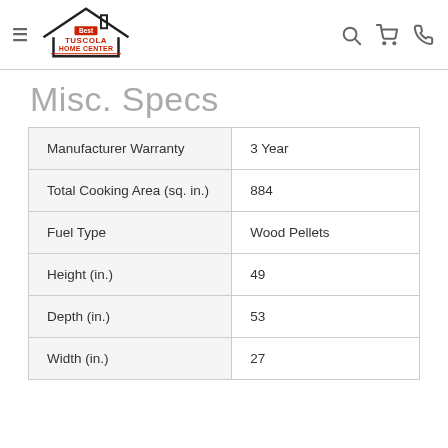Tuscola Home Center
Misc. Specs
| Spec | Value |
| --- | --- |
| Manufacturer Warranty | 3 Year |
| Total Cooking Area (sq. in.) | 884 |
| Fuel Type | Wood Pellets |
| Height (in.) | 49 |
| Depth (in.) | 53 |
| Width (in.) | 27 |